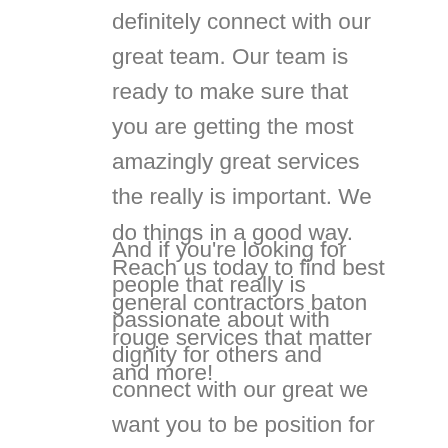definitely connect with our great team. Our team is ready to make sure that you are getting the most amazingly great services the really is important. We do things in a good way. Reach us today to find best general contractors baton rouge services that matter and more!
And if you're looking for people that really is passionate about with dignity for others and connect with our great we want you to be position for great success. Grab we are ready to make sure that you are getting the most outstanding services and results that is important. Every looking for people that really do care about making could